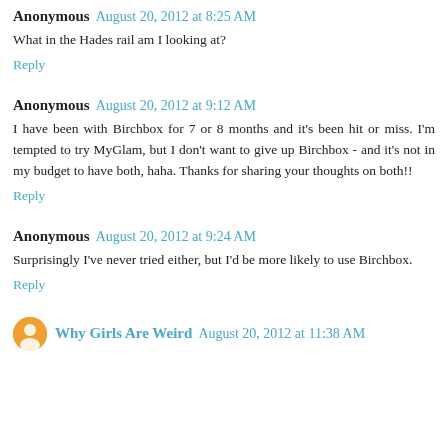Anonymous August 20, 2012 at 8:25 AM
What in the Hades rail am I looking at?
Reply
Anonymous August 20, 2012 at 9:12 AM
I have been with Birchbox for 7 or 8 months and it's been hit or miss. I'm tempted to try MyGlam, but I don't want to give up Birchbox - and it's not in my budget to have both, haha. Thanks for sharing your thoughts on both!!
Reply
Anonymous August 20, 2012 at 9:24 AM
Surprisingly I've never tried either, but I'd be more likely to use Birchbox.
Reply
Why Girls Are Weird August 20, 2012 at 11:38 AM